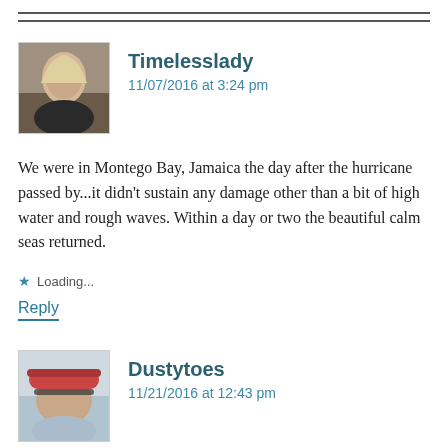Timelesslady
11/07/2016 at 3:24 pm
We were in Montego Bay, Jamaica the day after the hurricane passed by...it didn't sustain any damage other than a bit of high water and rough waves. Within a day or two the beautiful calm seas returned.
Loading...
Reply
Dustytoes
11/21/2016 at 12:43 pm